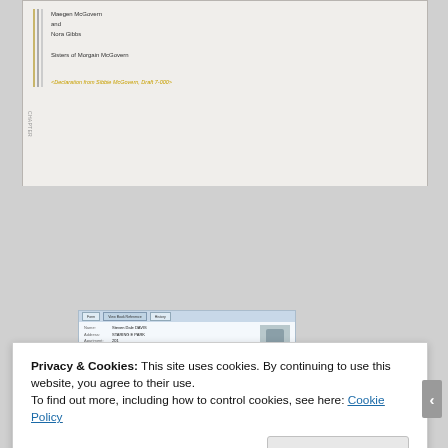[Figure (screenshot): Screenshot of a document page showing names 'Maegen McGovern and Nora Gibbs', subtitle 'Sisters of Morgain McGovern', a citation line in gold italic text, decorative colored vertical lines, and a page number on the left side.]
[Figure (screenshot): Screenshot of a website/database record showing a person's information with tabbed navigation, fields for Name and Address, and a portrait photo thumbnail.]
Privacy & Cookies: This site uses cookies. By continuing to use this website, you agree to their use.
To find out more, including how to control cookies, see here: Cookie Policy
Close and accept